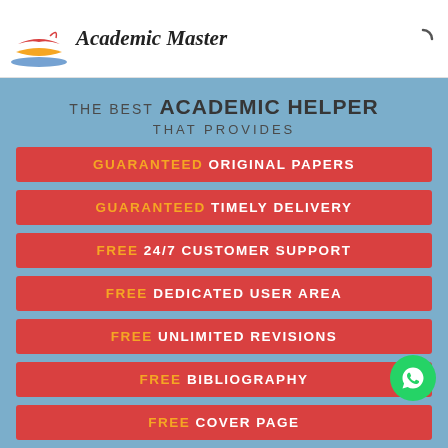[Figure (logo): Academic Master logo with book/pages icon in red, yellow, blue]
THE BEST ACADEMIC HELPER THAT PROVIDES
GUARANTEED ORIGINAL PAPERS
GUARANTEED TIMELY DELIVERY
FREE 24/7 CUSTOMER SUPPORT
FREE DEDICATED USER AREA
FREE UNLIMITED REVISIONS
FREE BIBLIOGRAPHY
FREE COVER PAGE